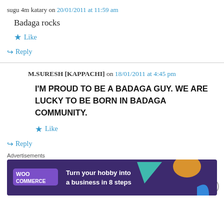sugu 4m katary on 20/01/2011 at 11:59 am
Badaga rocks
Like
Reply
M.SURESH [KAPPACHI] on 18/01/2011 at 4:45 pm
I'M PROUD TO BE A BADAGA GUY. WE ARE LUCKY TO BE BORN IN BADAGA COMMUNITY.
Like
Reply
Advertisements
[Figure (screenshot): WooCommerce advertisement banner: Turn your hobby into a business in 8 steps]